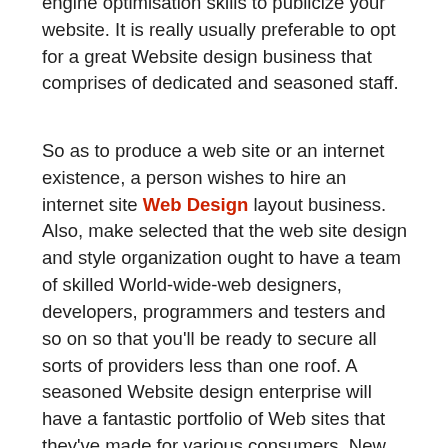engine optimisation skills to publicize your website. It is really usually preferable to opt for a great Website design business that comprises of dedicated and seasoned staff.
So as to produce a web site or an internet existence, a person wishes to hire an internet site Web Design layout business. Also, make selected that the web site design and style organization ought to have a team of skilled World-wide-web designers, developers, programmers and testers and so on so that you'll be ready to secure all sorts of providers less than one roof. A seasoned Website design enterprise will have a fantastic portfolio of Web sites that they've made for various consumers. New Website design firms are springing up the entire